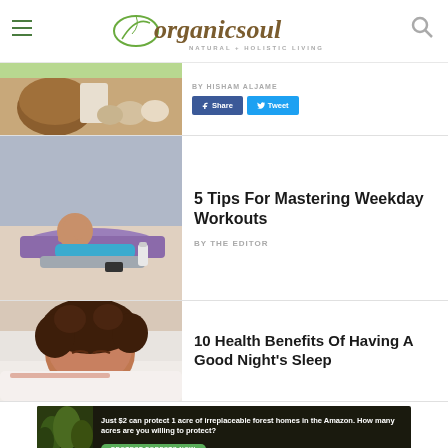organicsoul NATURAL + HOLISTIC LIVING
[Figure (photo): Partial top article showing coconut, eggs, food items]
BY HISHAM ALJAME
Share  Tweet
[Figure (photo): Woman doing plank exercise on purple yoga mat in gym]
5 Tips For Mastering Weekday Workouts
BY THE EDITOR
[Figure (photo): Woman with curly hair sleeping peacefully on pillow]
10 Health Benefits Of Having A Good Night's Sleep
[Figure (photo): Amazon forest advertisement banner - Just $2 can protect 1 acre of irreplaceable forest homes in the Amazon. How many acres are you willing to protect? PROTECT FORESTS NOW]